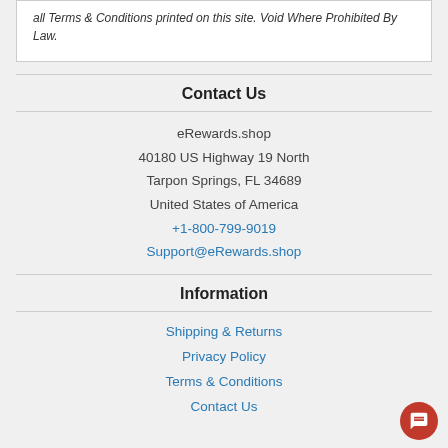all Terms & Conditions printed on this site. Void Where Prohibited By Law.
Contact Us
eRewards.shop
40180 US Highway 19 North
Tarpon Springs, FL 34689
United States of America
+1-800-799-9019
Support@eRewards.shop
Information
Shipping & Returns
Privacy Policy
Terms & Conditions
Contact Us